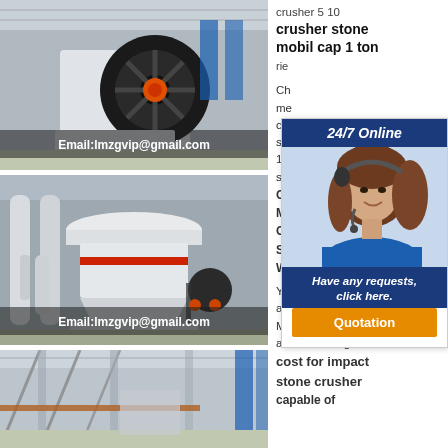[Figure (photo): Industrial jaw crusher machine in factory with large black flywheel and orange element, Email:lmzgvip@gmail.com overlay]
[Figure (photo): Cone crusher machine in factory setting, white cylindrical body with red stripe, Email:lmzgvip@gmail.com overlay]
[Figure (photo): Interior of industrial factory/warehouse showing steel structure and equipment]
crusher 5 10
crusher stone mobil cap 1 ton
rie...
Ch... me... co... st... 1 s... st...
Cr... Mo... Gr... So... Wi...
Your Durable and Flexible Mobile Crushing and Screening
cost for impact stone crusher capable of
[Figure (infographic): 24/7 Online popup with woman wearing headset, 'Have any requests, click here.' text, and Quotation button]